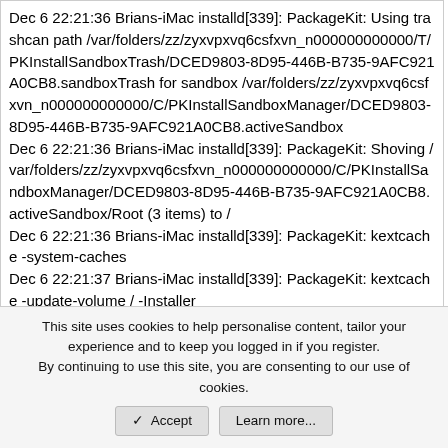Dec 6 22:21:36 Brians-iMac installd[339]: PackageKit: Using trashcan path /var/folders/zz/zyxvpxvq6csfxvn_n000000000000/T/PKInstallSandboxTrash/DCED9803-8D95-446B-B735-9AFC921A0CB8.sandboxTrash for sandbox /var/folders/zz/zyxvpxvq6csfxvn_n000000000000/C/PKInstallSandboxManager/DCED9803-8D95-446B-B735-9AFC921A0CB8.activeSandbox
Dec 6 22:21:36 Brians-iMac installd[339]: PackageKit: Shoving /var/folders/zz/zyxvpxvq6csfxvn_n000000000000/C/PKInstallSandboxManager/DCED9803-8D95-446B-B735-9AFC921A0CB8.activeSandbox/Root (3 items) to /
Dec 6 22:21:36 Brians-iMac installd[339]: PackageKit: kextcache -system-caches
Dec 6 22:21:37 Brians-iMac installd[339]: PackageKit: kextcache -update-volume / -Installer
This site uses cookies to help personalise content, tailor your experience and to keep you logged in if you register.
By continuing to use this site, you are consenting to our use of cookies.
Accept  Learn more...